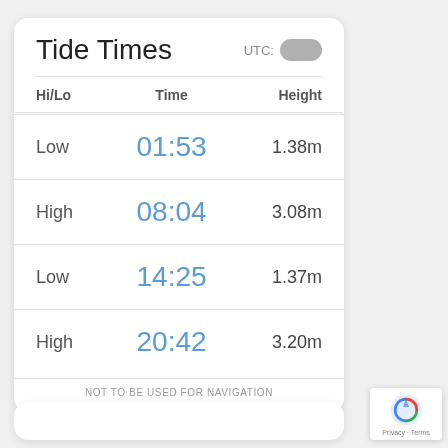Tide Times
| Hi/Lo | Time | Height |
| --- | --- | --- |
| Low | 01:53 | 1.38m |
| High | 08:04 | 3.08m |
| Low | 14:25 | 1.37m |
| High | 20:42 | 3.20m |
NOT TO BE USED FOR NAVIGATION